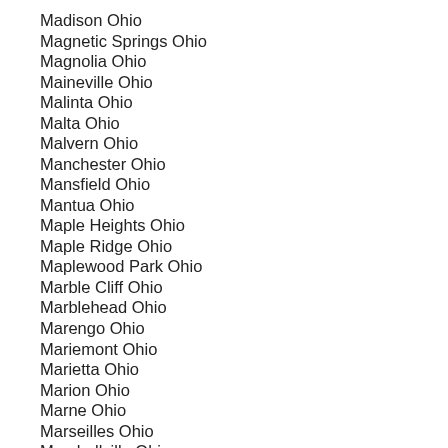Madison Ohio
Magnetic Springs Ohio
Magnolia Ohio
Maineville Ohio
Malinta Ohio
Malta Ohio
Malvern Ohio
Manchester Ohio
Mansfield Ohio
Mantua Ohio
Maple Heights Ohio
Maple Ridge Ohio
Maplewood Park Ohio
Marble Cliff Ohio
Marblehead Ohio
Marengo Ohio
Mariemont Ohio
Marietta Ohio
Marion Ohio
Marne Ohio
Marseilles Ohio
Marshallville Ohio
Martins Ferry Ohio
Martinsburg Ohio
Martinsville Ohio
Marysville Ohio